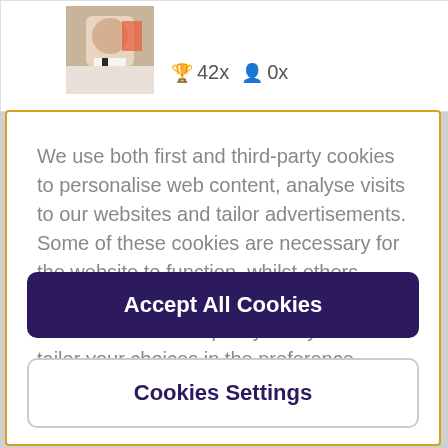[Figure (screenshot): Profile thumbnail showing person in white jacket with dark tie, partially visible]
🏆 42x 👤 0x
We use both first and third-party cookies to personalise web content, analyse visits to our websites and tailor advertisements. Some of these cookies are necessary for the website to function, whilst others require your consent. More detail can be found in our cookie policy and you can tailor your choices in the preference centre.
Accept All Cookies
Cookies Settings